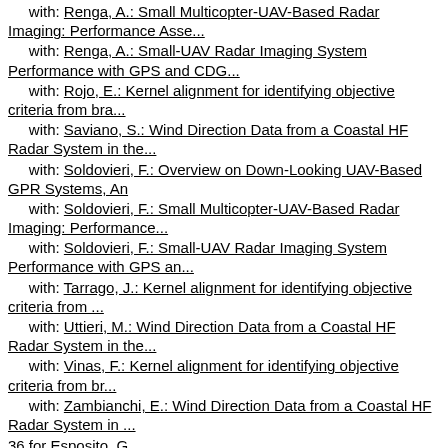with: Renga, A.: Small Multicopter-UAV-Based Radar Imaging: Performance Asse...
with: Renga, A.: Small-UAV Radar Imaging System Performance with GPS and CDG...
with: Rojo, E.: Kernel alignment for identifying objective criteria from bra...
with: Saviano, S.: Wind Direction Data from a Coastal HF Radar System in the...
with: Soldovieri, F.: Overview on Down-Looking UAV-Based GPR Systems, An
with: Soldovieri, F.: Small Multicopter-UAV-Based Radar Imaging: Performance...
with: Soldovieri, F.: Small-UAV Radar Imaging System Performance with GPS an...
with: Tarrago, J.: Kernel alignment for identifying objective criteria from ...
with: Uttieri, M.: Wind Direction Data from a Coastal HF Radar System in the...
with: Vinas, F.: Kernel alignment for identifying objective criteria from br...
with: Zambianchi, E.: Wind Direction Data from a Coastal HF Radar System in ...
36 for Esposito, G.